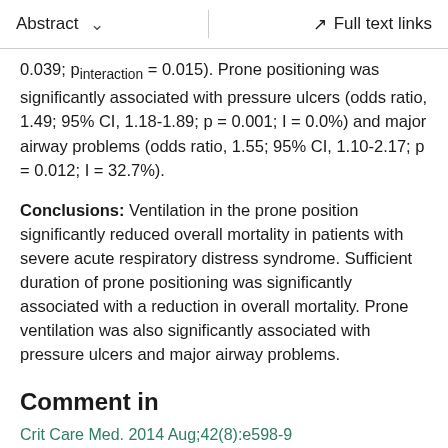Abstract   ∨   Full text links
0.039; pinteraction = 0.015). Prone positioning was significantly associated with pressure ulcers (odds ratio, 1.49; 95% CI, 1.18-1.89; p = 0.001; I = 0.0%) and major airway problems (odds ratio, 1.55; 95% CI, 1.10-2.17; p = 0.012; I = 32.7%).
Conclusions: Ventilation in the prone position significantly reduced overall mortality in patients with severe acute respiratory distress syndrome. Sufficient duration of prone positioning was significantly associated with a reduction in overall mortality. Prone ventilation was also significantly associated with pressure ulcers and major airway problems.
Comment in
Crit Care Med. 2014 Aug;42(8):e598-9